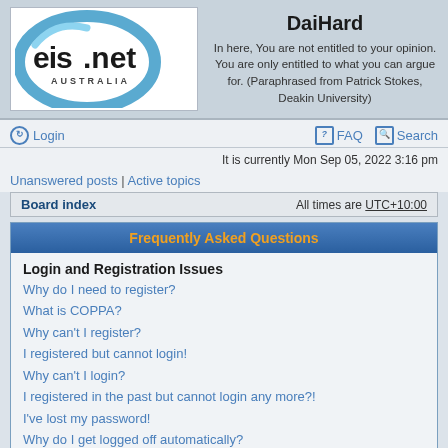[Figure (logo): eis.net Australia logo — blue elliptical swoosh around black text 'eis.net' with 'AUSTRALIA' below]
DaiHard
In here, You are not entitled to your opinion. You are only entitled to what you can argue for. (Paraphrased from Patrick Stokes, Deakin University)
Login
FAQ   Search
It is currently Mon Sep 05, 2022 3:16 pm
Unanswered posts | Active topics
Board index    All times are UTC+10:00
Frequently Asked Questions
Login and Registration Issues
Why do I need to register?
What is COPPA?
Why can't I register?
I registered but cannot login!
Why can't I login?
I registered in the past but cannot login any more?!
I've lost my password!
Why do I get logged off automatically?
What does the "Delete all board cookies" do?
User Preferences and settings
How do I change my settings?
How do I prevent my username appearing in the online user listings?